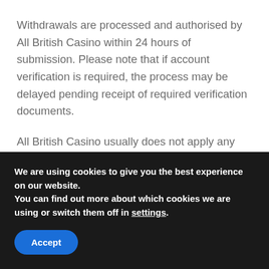Withdrawals are processed and authorised by All British Casino within 24 hours of submission. Please note that if account verification is required, the process may be delayed pending receipt of required verification documents.
All British Casino usually does not apply any fees for deposits or withdrawals. Only withdrawals made via bank transfer may incur a charge.
Is All British Casino
We are using cookies to give you the best experience on our website.
You can find out more about which cookies we are using or switch them off in settings.